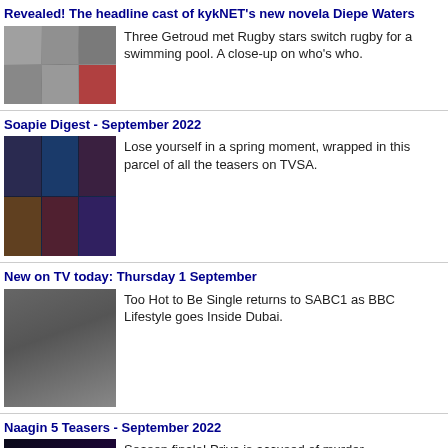Revealed! The headline cast of kykNET's new novela Diepe Waters
[Figure (photo): Grid of cast member headshots for Diepe Waters]
Three Getroud met Rugby stars switch rugby for a swimming pool. A close-up on who's who.
Soapie Digest - September 2022
[Figure (photo): Collage of soap opera show thumbnails]
Lose yourself in a spring moment, wrapped in this parcel of all the teasers on TVSA.
New on TV today: Thursday 1 September
[Figure (photo): Man in blue suit posing]
Too Hot to Be Single returns to SABC1 as BBC Lifestyle goes Inside Dubai.
Naagin 5 Teasers - September 2022
[Figure (photo): Woman with dramatic jewelry and makeup]
Season finale! Priya is accused of murder.
The Estate 3 on S3 Teasers - September 2022